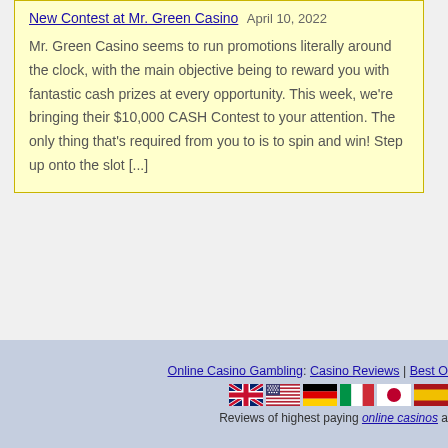$10,000 Cash Prizes in a New Contest at Mr. Green Casino  April 10, 2022
Mr. Green Casino seems to run promotions literally around the clock, with the main objective being to reward you with fantastic cash prizes at every opportunity. This week, we're bringing their $10,000 CASH Contest to your attention. The only thing that's required from you to is to spin and win! Step up onto the slot [...]
Online Casino Gambling: Casino Reviews | Best O... Reviews of highest paying online casinos a...